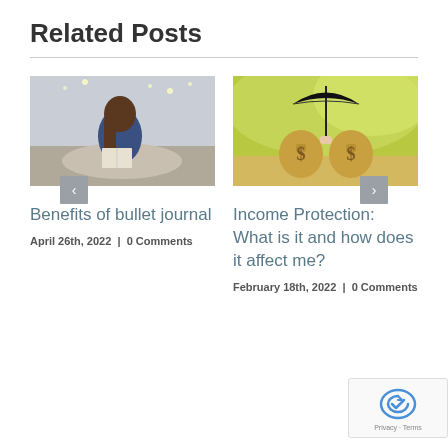Related Posts
[Figure (photo): Young woman with long hair sitting on a bed reading or writing in a journal, wearing a blue sweater, soft indoor lighting]
Benefits of bullet journal
April 26th, 2022  |  0 Comments
[Figure (photo): Two burlap money bags with dollar signs sitting on a table under a black umbrella held by a hand, yellow-green blurred background]
Income Protection: What is it and how does it affect me?
February 18th, 2022  |  0 Comments